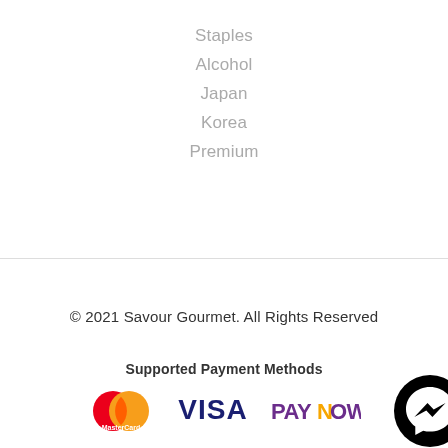Staples
Alcohol
Japan
Korea
Premium
© 2021 Savour Gourmet. All Rights Reserved
Supported Payment Methods
[Figure (logo): MasterCard logo, Visa logo, PayNow logo, and Facebook Messenger chat button]